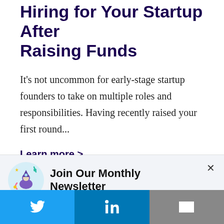Hiring for Your Startup After Raising Funds
It's not uncommon for early-stage startup founders to take on multiple roles and responsibilities. Having recently raised your first round...
Learn more  >
Join Our Monthly Newsletter
Subscribe to get our latest articles and updates delivered directly to your inbox!
[Figure (illustration): Rocket/newsletter icon with colorful decorative elements on a light blue circular background]
× (close button)